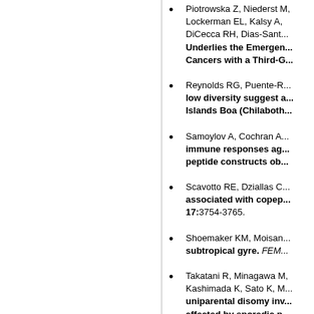Piotrowska Z, Niederst M, Lockerman EL, Kalsy A, DiCecca RH, Dias-Sant... Underlies the Emergence of Cancers with a Third-G...
Reynolds RG, Puente-R... low diversity suggest a... Islands Boa (Chilaboth...
Samoylov A, Cochran A... immune responses ag... peptide constructs ob...
Scavotto RE, Dziallas C... associated with copep... 17:3754-3765.
Shoemaker KM, Moisan... subtropical gyre. FEM...
Takatani R, Minagawa M, Kashimada K, Sato K, M... uniparental disomy inv... affected by sporadic p...
Takatani R, Molinaro A, FL, Linglart A, Juppner H... Pseudohypoparathyro... Deletion. J Bone Miner...